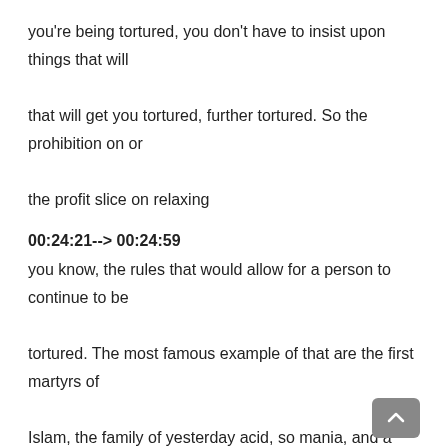you're being tortured, you don't have to insist upon things that will that will get you tortured, further tortured. So the prohibition on or the profit slice on relaxing
00:24:21--> 00:24:59
you know, the rules that would allow for a person to continue to be tortured. The most famous example of that are the first martyrs of Islam, the family of yesterday acid, so mania, and a monkey. And when, when, when, when a Buddha was torturing them, obviously tortured amongst them a lot of vinyasa. And while Ahmad was being tortured, they were being forced to curse a lot. They're being forced to curse the Prophet slice Allah. They're being forced to say things, you know, to worship the idols or to say, words of worship to the idols. Now, yes, and and sumiya did not do that and they were killed for that